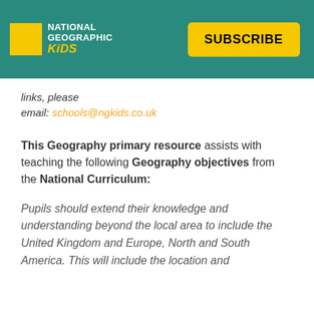[Figure (logo): National Geographic Kids logo with yellow rectangle and white text, plus yellow SUBSCRIBE button on teal background]
links, please email: schools@ngkids.co.uk
This Geography primary resource assists with teaching the following Geography objectives from the National Curriculum:
Pupils should extend their knowledge and understanding beyond the local area to include the United Kingdom and Europe, North and South America. This will include the location and